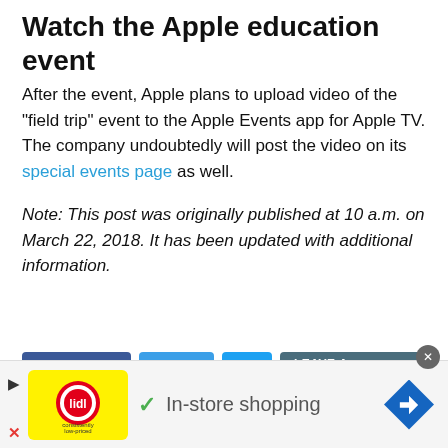Watch the Apple education event
After the event, Apple plans to upload video of the “field trip” event to the Apple Events app for Apple TV. The company undoubtedly will post the video on its special events page as well.
Note: This post was originally published at 10 a.m. on March 22, 2018. It has been updated with additional information.
[Figure (other): Social sharing buttons: Like 295 (Facebook), Share, Twitter bird icon, LEAVE A COMMENT]
[Figure (other): Advertisement bar at bottom: Lidl logo, checkmark, In-store shopping text, blue diamond arrow button, close X button, play icon]